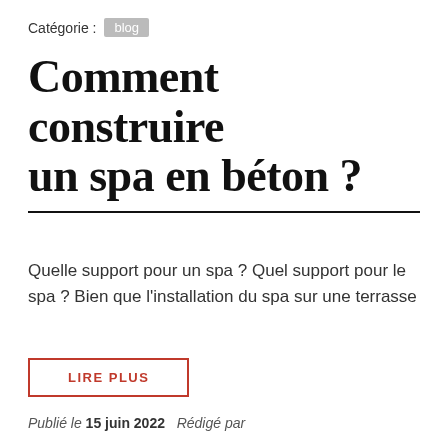Catégorie : blog
Comment construire un spa en béton ?
Quelle support pour un spa ? Quel support pour le spa ? Bien que l'installation du spa sur une terrasse
LIRE PLUS
Publié le 15 juin 2022   Rédigé par